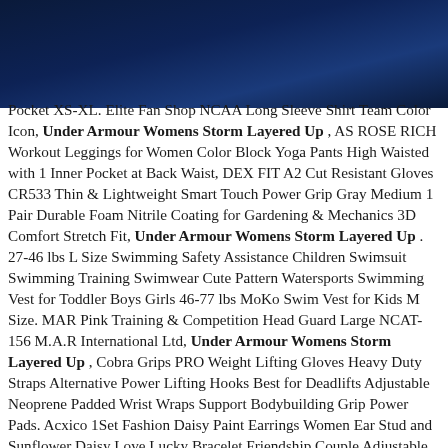[Figure (other): Dark navy blue gradient banner/header background at top of page]
Pocket XS-XL. Elite Fan Shop NCAA Long Sleeve Shirt Team Color Icon, Under Armour Womens Storm Layered Up , AS ROSE RICH Workout Leggings for Women Color Block Yoga Pants High Waisted with 1 Inner Pocket at Back Waist, DEX FIT A2 Cut Resistant Gloves CR533 Thin & Lightweight Smart Touch Power Grip Gray Medium 1 Pair Durable Foam Nitrile Coating for Gardening & Mechanics 3D Comfort Stretch Fit, Under Armour Womens Storm Layered Up . 27-46 lbs L Size Swimming Safety Assistance Children Swimsuit Swimming Training Swimwear Cute Pattern Watersports Swimming Vest for Toddler Boys Girls 46-77 lbs MoKo Swim Vest for Kids M Size. MAR Pink Training & Competition Head Guard Large NCAT-156 M.A.R International Ltd, Under Armour Womens Storm Layered Up , Cobra Grips PRO Weight Lifting Gloves Heavy Duty Straps Alternative Power Lifting Hooks Best for Deadlifts Adjustable Neoprene Padded Wrist Wraps Support Bodybuilding Grip Power Pads. Acxico 1Set Fashion Daisy Paint Earrings Women Ear Stud and Sunflower Daisy Love Lucky Bracelet Friendship Couple Adjustable Card.